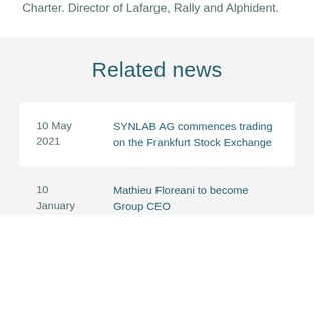Charter. Director of Lafarge, Rally and Alphident.
Related news
10 May 2021 | SYNLAB AG commences trading on the Frankfurt Stock Exchange
10 January | Mathieu Floreani to become Group CEO